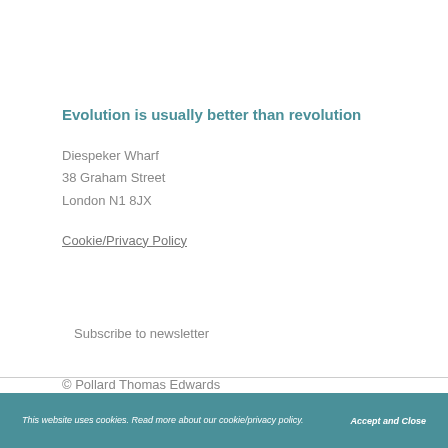Evolution is usually better than revolution
Diespeker Wharf
38 Graham Street
London N1 8JX
Cookie/Privacy Policy
Subscribe to newsletter
© Pollard Thomas Edwards
This website uses cookies. Read more about our cookie/privacy policy.    Accept and Close